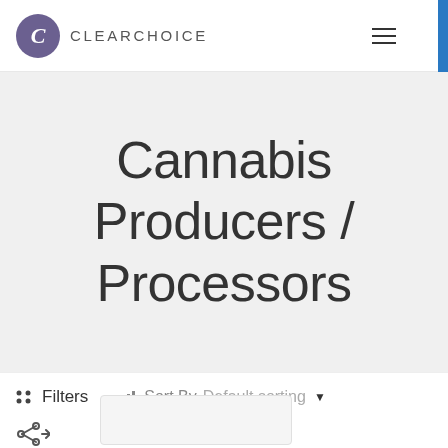CLEARCHOICE
Cannabis Producers / Processors
Filters  Sort By  Default sorting